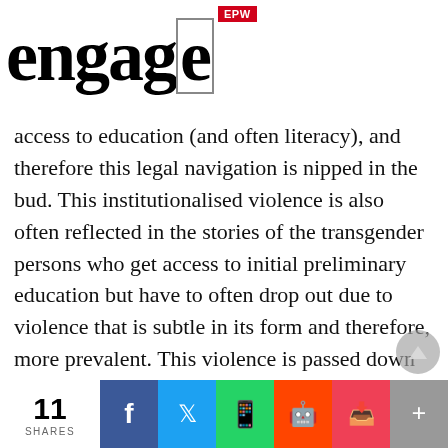EPW engage
access to education (and often literacy), and therefore this legal navigation is nipped in the bud. This institutionalised violence is also often reflected in the stories of the transgender persons who get access to initial preliminary education but have to often drop out due to violence that is subtle in its form and therefore, more prevalent. This violence is passed down the doors in places of work of transgender persons, and systematically and systemically disengages them and
11 SHARES | Facebook | Twitter | WhatsApp | Reddit | Pocket | More